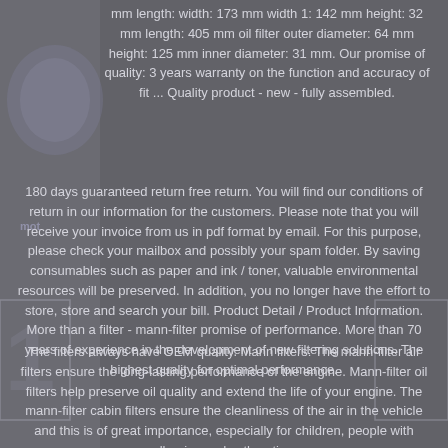mm length: width: 173 mm width 1: 142 mm height: 32 mm length: 405 mm oil filter outer diameter: 64 mm height: 125 mm inner diameter: 31 mm. Our promise of quality: 3 years warranty on the function and accuracy of fit ... Quality product - new - fully assembled.
180 days guaranteed return free return. You will find our conditions of return in our information for the customers. Please note that you will receive your invoice from us in pdf format by email. For this purpose, please check your mailbox and possibly your spam folder. By saving consumables such as paper and ink / toner, valuable environmental resources will be preserved. In addition, you no longer have the effort to store, store and search your bill. Product Detail / Product Information. More than a filter - mann-filter promise of performance. More than 70 years of experience in the development of new filtering solutions. The highest quality for optimal performance.
The filters always have OEM quality. Mann filters: The mann-filter air filters ensure the long-lasting performance of the engine. Mann-filter oil filters help preserve oil quality and extend the life of your engine. The mann-filter cabin filters ensure the cleanliness of the air in the vehicle and this is of great importance, especially for children, people with allergies and asthmatics.